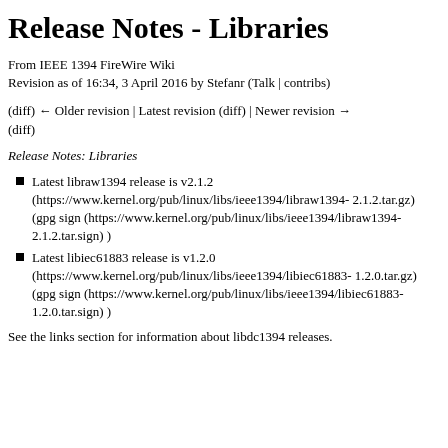Release Notes - Libraries
From IEEE 1394 FireWire Wiki
Revision as of 16:34, 3 April 2016 by Stefanr (Talk | contribs)
(diff) ← Older revision | Latest revision (diff) | Newer revision → (diff)
Release Notes: Libraries
Latest libraw1394 release is v2.1.2 (https://www.kernel.org/pub/linux/libs/ieee1394/libraw1394-2.1.2.tar.gz) (gpg sign (https://www.kernel.org/pub/linux/libs/ieee1394/libraw1394-2.1.2.tar.sign) )
Latest libiec61883 release is v1.2.0 (https://www.kernel.org/pub/linux/libs/ieee1394/libiec61883-1.2.0.tar.gz) (gpg sign (https://www.kernel.org/pub/linux/libs/ieee1394/libiec61883-1.2.0.tar.sign) )
See the links section for information about libdc1394 releases.